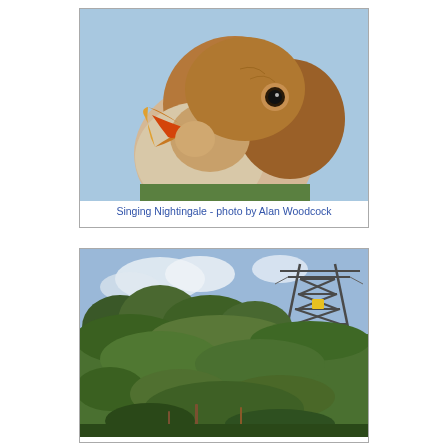[Figure (photo): Close-up photo of a singing Nightingale bird with beak open, brown plumage, against a light blue sky background. Photo by Alan Woodcock.]
Singing Nightingale - photo by Alan Woodcock
[Figure (photo): Landscape photo showing dense green scrubland with bushes and vegetation in the foreground, and a large electrical pylon/transmission tower visible in the background against a partly cloudy sky.]